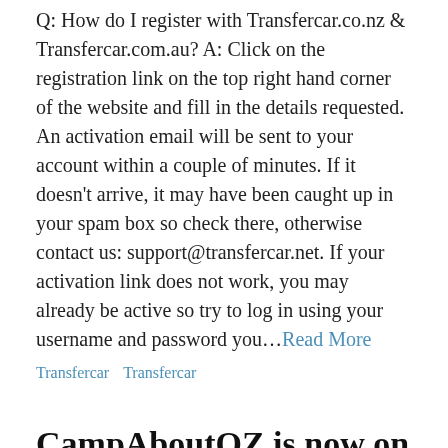Q: How do I register with Transfercar.co.nz & Transfercar.com.au? A: Click on the registration link on the top right hand corner of the website and fill in the details requested. An activation email will be sent to your account within a couple of minutes. If it doesn't arrive, it may have been caught up in your spam box so check there, otherwise contact us: support@transfercar.net. If your activation link does not work, you may already be active so try to log in using your username and password you... Read More
Transfercar
Transfercar
CampAboutOZ is now on board with Transfercar
Posted on April 8, 2011 by bonnie in Uncategorized